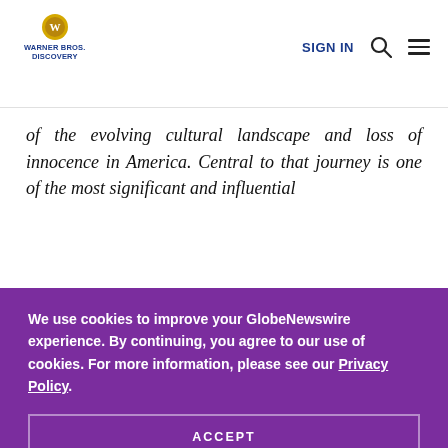WARNER BROS. DISCOVERY | SIGN IN
of the evolving cultural landscape and loss of innocence in America. Central to that journey is one of the most significant and influential
We use cookies to improve your GlobeNewswire experience. By continuing, you agree to our use of cookies. For more information, please see our Privacy Policy. ACCEPT